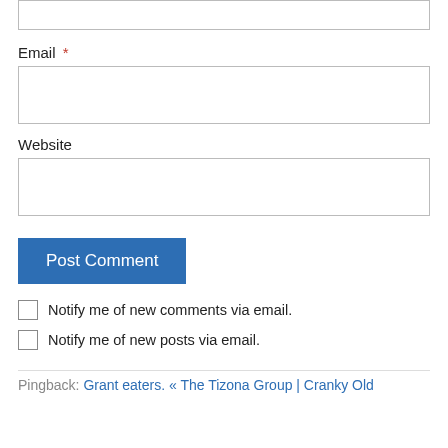Email *
Website
Post Comment
Notify me of new comments via email.
Notify me of new posts via email.
Pingback: Grant eaters. « The Tizona Group | Cranky Old